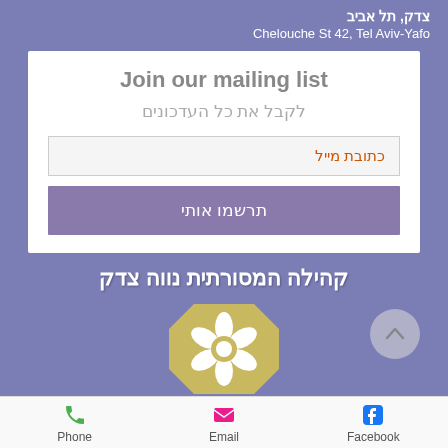צדק, תל אביב
Chelouche St 42, Tel Aviv-Yafo
Join our mailing list
לקבל את כל העדכונים
כתובת מייל
תרשמו אותי
קהילה המסורתית נווה צדק
[Figure (logo): Circular octagon-shaped logo with a white flower on a yellow-olive background]
[Figure (other): Up arrow button (chevron) in a light gray circle]
Phone
Email
Facebook